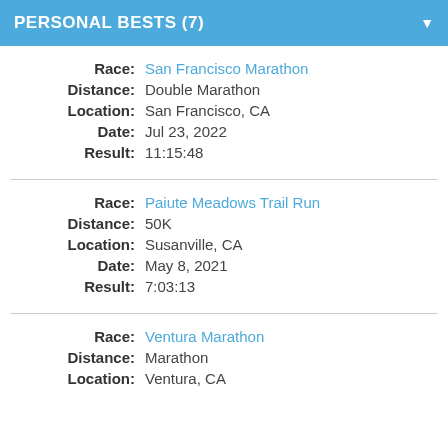PERSONAL BESTS (7)
| Label | Value |
| --- | --- |
| Race: | San Francisco Marathon |
| Distance: | Double Marathon |
| Location: | San Francisco, CA |
| Date: | Jul 23, 2022 |
| Result: | 11:15:48 |
| Label | Value |
| --- | --- |
| Race: | Paiute Meadows Trail Run |
| Distance: | 50K |
| Location: | Susanville, CA |
| Date: | May 8, 2021 |
| Result: | 7:03:13 |
| Label | Value |
| --- | --- |
| Race: | Ventura Marathon |
| Distance: | Marathon |
| Location: | Ventura, CA |